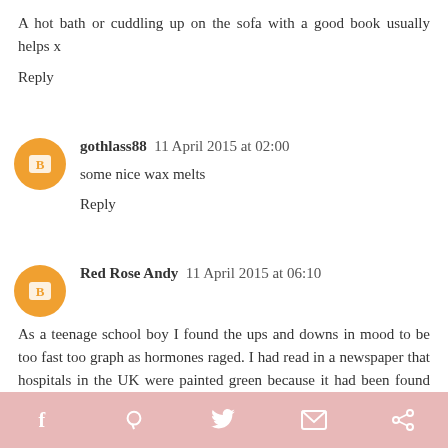A hot bath or cuddling up on the sofa with a good book usually helps x
Reply
gothlass88  11 April 2015 at 02:00
some nice wax melts
Reply
Red Rose Andy  11 April 2015 at 06:10
As a teenage school boy I found the ups and downs in mood to be too fast too graph as hormones raged. I had read in a newspaper that hospitals in the UK were painted green because it had been found that this colour relaxed the patients. I thought it would be a great idea to stare at a piece of green paper in order to relax myself, but green cardboard from the stationery shop had no effect. Undeterred, I tried other colours and came upon one which
f  P  [twitter]  [mail]  [share]